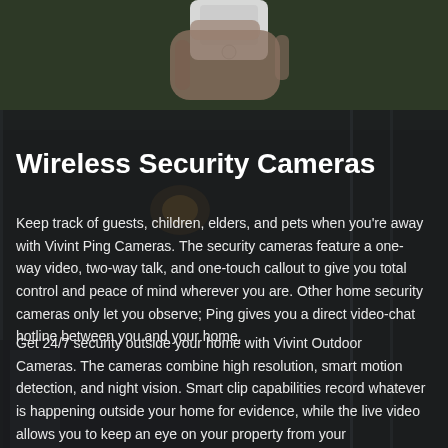[Figure (photo): Dark background showing a person holding a white smartphone at the top, with a dimly lit room/home interior scene below, serving as a full-page background image.]
Wireless Security Cameras
Keep track of guests, children, elders, and pets when you're away with Vivint Ping Cameras. The security cameras feature a one-way video, two-way talk, and one-touch callout to give you total control and peace of mind wherever you are. Other home security cameras only let you observe; Ping gives you a direct video-chat hotline between you and your home.
Get 24/7 security outside your home with Vivint Outdoor Cameras. The cameras combine high resolution, smart motion detection, and night vision. Smart clip capabilities record whatever is happening outside your home for evidence, while the live video allows you to keep an eye on your property from your